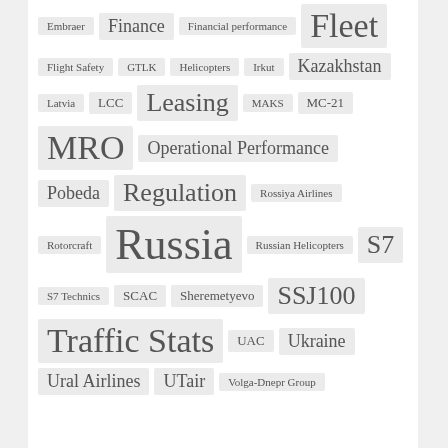Tag cloud: Embraer, Finance, Financial performance, Fleet, Flight Safety, GTLK, Helicopters, Irkut, Kazakhstan, Latvia, LCC, Leasing, MAKS, MC-21, MRO, Operational Performance, Pobeda, Regulation, Rossiya Airlines, Rotorcraft, Russia, Russian Helicopters, S7, S7 Technics, SCAC, Sheremetyevo, SSJ100, Traffic Stats, UAC, Ukraine, Ural Airlines, UTair, Volga-Dnepr Group